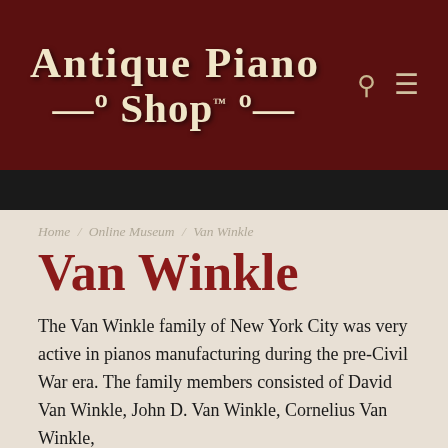Antique Piano Shop
Home / Online Museum / Van Winkle
Van Winkle
The Van Winkle family of New York City was very active in pianos manufacturing during the pre-Civil War era. The family members consisted of David Van Winkle, John D. Van Winkle, Cornelius Van Winkle,